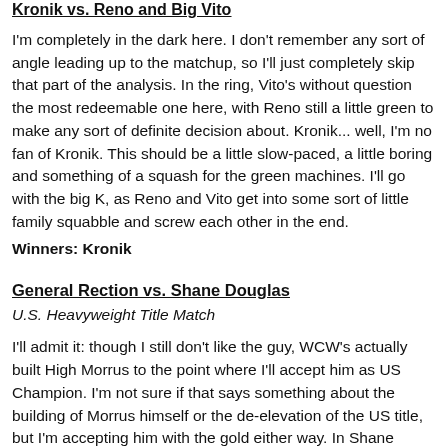Kronik vs. Reno and Big Vito
I'm completely in the dark here. I don't remember any sort of angle leading up to the matchup, so I'll just completely skip that part of the analysis. In the ring, Vito's without question the most redeemable one here, with Reno still a little green to make any sort of definite decision about. Kronik... well, I'm no fan of Kronik. This should be a little slow-paced, a little boring and something of a squash for the green machines. I'll go with the big K, as Reno and Vito get into some sort of little family squabble and screw each other in the end.
Winners: Kronik
General Rection vs. Shane Douglas
U.S. Heavyweight Title Match
I'll admit it: though I still don't like the guy, WCW's actually built High Morrus to the point where I'll accept him as US Champion. I'm not sure if that says something about the building of Morrus himself or the de-elevation of the US title, but I'm accepting him with the gold either way. In Shane Douglas, they've got a decent enough star that's working through something of a slump lately. They haven't given the